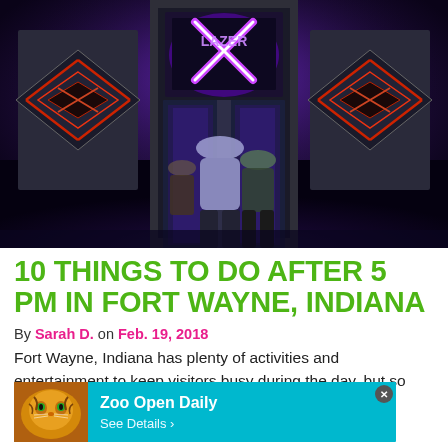[Figure (photo): People standing in front of a Lazer X (laser tag) arcade entrance with glowing neon X sign, diamond-shaped neon panels on either side, dark atmospheric lighting with purple and red tones]
10 THINGS TO DO AFTER 5 PM IN FORT WAYNE, INDIANA
By Sarah D. on Feb. 19, 2018
Fort Wayne, Indiana has plenty of activities and entertainment to keep visitors busy during the day, but so much more to do much to the
[Figure (infographic): Zoo advertisement overlay showing a tiger image on the left with teal/cyan background. Text reads 'Zoo Open Daily' and 'See Details >' with a close button in the corner]